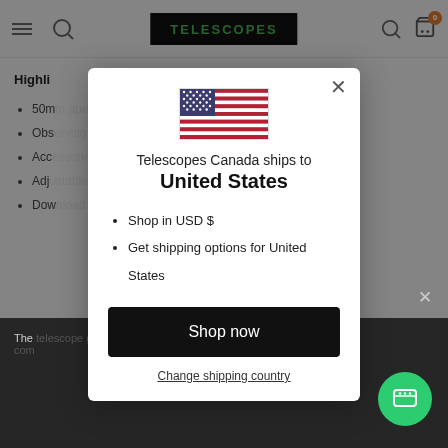TELESCOPES
Highlights
50m... light fra...
Obs...
Acc... nage ere...
Adj...
Dow...
[Figure (screenshot): Modal dialog on a website for Telescopes Canada showing a US flag, text 'Telescopes Canada ships to United States', options to shop in USD $ and get shipping options for United States, a 'Shop now' button, and a 'Change shipping country' link.]
Telescopes Canada ships to
United States
Shop in USD $
Get shipping options for United States
Shop now
Change shipping country